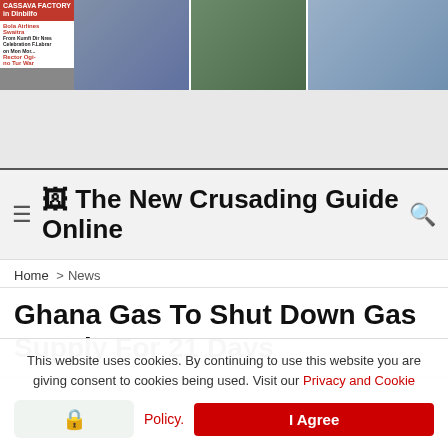[Figure (photo): Top image strip showing newspaper/article thumbnails and event photos]
[Figure (photo): Gray advertisement/banner area]
The New Crusading Guide Online
Home > News
Ghana Gas To Shut Down Gas Supply For 21 Days
This website uses cookies. By continuing to use this website you are giving consent to cookies being used. Visit our Privacy and Cookie Policy. I Agree